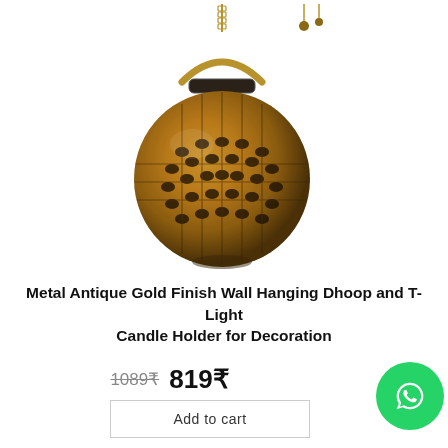[Figure (photo): Metal antique gold finish hanging lantern/dhoop holder with ornate filigree cutwork pattern, spherical body with handle, hanging from a chain against white background]
Metal Antique Gold Finish Wall Hanging Dhoop and T-Light Candle Holder for Decoration
1089₹  819₹
Add to cart